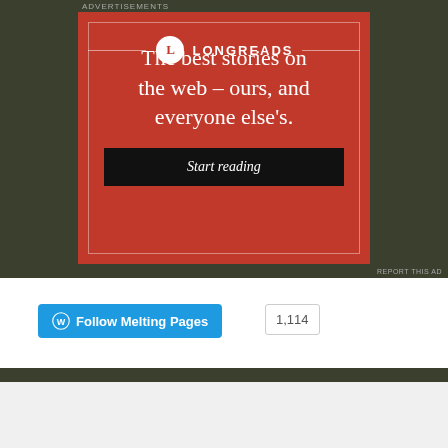Advertisements
[Figure (illustration): Longreads advertisement banner with red background. Circle logo with 'L' and 'LONGREADS' text. Tagline: 'The best stories on the web – ours, and everyone else's.' Black button: 'Start reading'.]
REPORT THIS AD
[Figure (other): WordPress Follow Melting Pages button with follower count 1,114]
Advertisements
[Figure (illustration): Dark banner ad: 'Launch your online course with WordPress' with 'Learn More' button]